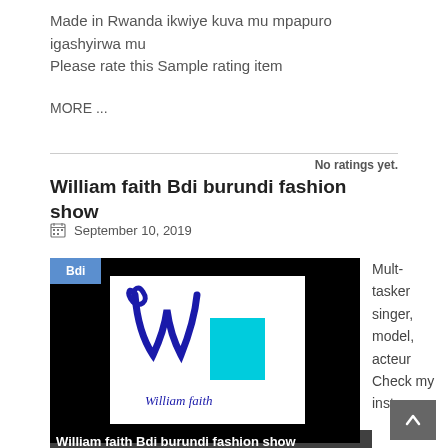Made in Rwanda ikwiye kuva mu mpapuro igashyirwa mu Please rate this Sample rating item
MORE ...
No ratings yet.
William faith Bdi burundi fashion show
September 10, 2019
[Figure (logo): William faith logo on black background with WF monogram in blue and cyan, and 'William faith' script below. Bdi badge overlay top left.]
William faith Bdi burundi fashion show
Mult-tasker singer, model, acteur Check my instagram